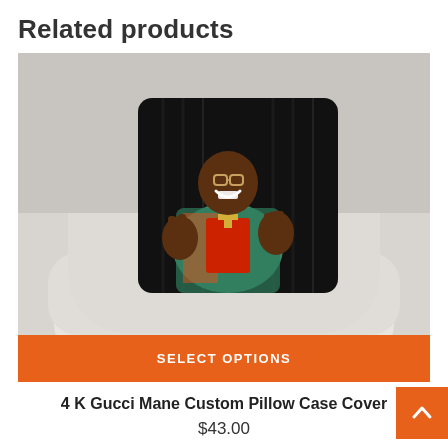Related products
[Figure (photo): A decorative pillow displayed on a white chair. The pillow features a printed photo of Gucci Mane (a rapper) smiling and gesturing with his hands, wearing a colorful jacket and cross necklace, against a dark background.]
SELECT OPTIONS
4 K Gucci Mane Custom Pillow Case Cover
$43.00